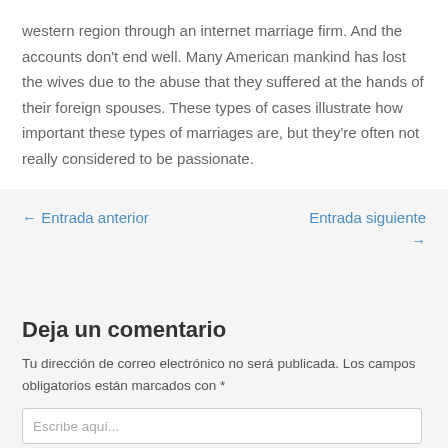western region through an internet marriage firm. And the accounts don't end well. Many American mankind has lost the wives due to the abuse that they suffered at the hands of their foreign spouses. These types of cases illustrate how important these types of marriages are, but they're often not really considered to be passionate.
← Entrada anterior
Entrada siguiente →
Deja un comentario
Tu dirección de correo electrónico no será publicada. Los campos obligatorios están marcados con *
Escribe aquí...